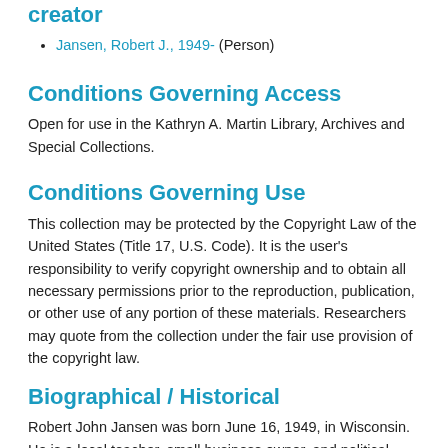creator
Jansen, Robert J., 1949- (Person)
Conditions Governing Access
Open for use in the Kathryn A. Martin Library, Archives and Special Collections.
Conditions Governing Use
This collection may be protected by the Copyright Law of the United States (Title 17, U.S. Code). It is the user's responsibility to verify copyright ownership and to obtain all necessary permissions prior to the reproduction, publication, or other use of any portion of these materials. Researchers may quote from the collection under the fair use provision of the copyright law.
Biographical / Historical
Robert John Jansen was born June 16, 1949, in Wisconsin. He is a local teacher, small business owner, and political activist. After earning his undergraduate and